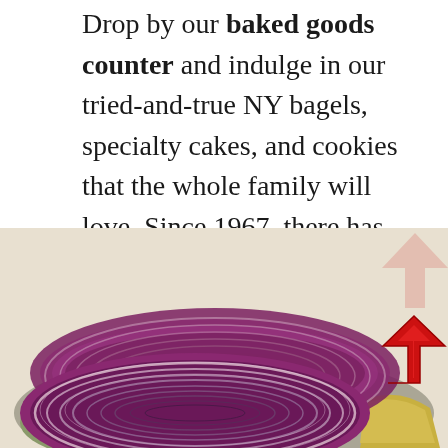Drop by our baked goods counter and indulge in our tried-and-true NY bagels, specialty cakes, and cookies that the whole family will love. Since 1967, there has been no other Jewish deli in Orange County quite like us. At Benjies NY Deli, we treat you like family—serving love from our deli counter to your dining table.
[Figure (photo): Close-up photo of sliced red onion rings on top of a deli sandwich or food item, with yellow and green vegetables visible underneath. A red upward-pointing arrow is overlaid on the bottom-right of the image.]